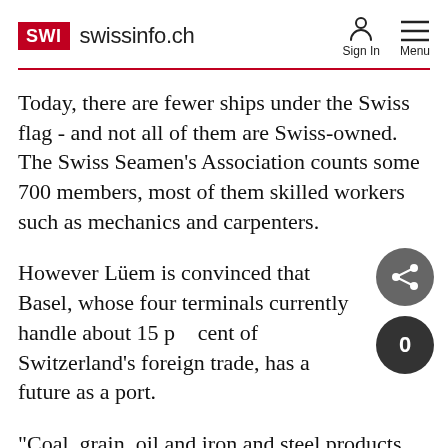SWI swissinfo.ch — Sign In  Menu
Today, there are fewer ships under the Swiss flag - and not all of them are Swiss-owned. The Swiss Seamen's Association counts some 700 members, most of them skilled workers such as mechanics and carpenters.
However Lüem is convinced that Basel, whose four terminals currently handle about 15 per cent of Switzerland's foreign trade, has a future as a port.
"Coal, grain, oil and iron and steel products are among non-perishable commodities ideally transported by water," she said. "What the